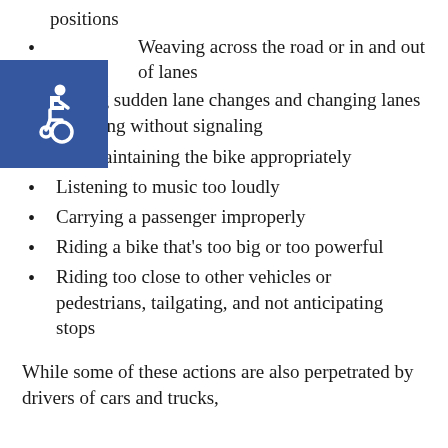positions
Weaving across the road or in and out of lanes
Making sudden lane changes and changing lanes or turning without signaling
Not maintaining the bike appropriately
Listening to music too loudly
Carrying a passenger improperly
Riding a bike that's too big or too powerful
Riding too close to other vehicles or pedestrians, tailgating, and not anticipating stops
While some of these actions are also perpetrated by drivers of cars and trucks,